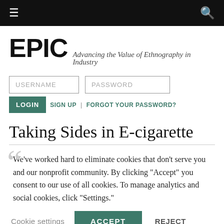≡  [navigation bar with hamburger and search icons]
EPIC — Advancing the Value of Ethnography in Industry
USERNAME  PASSWORD  LOGIN  SIGN UP  |  FORGOT YOUR PASSWORD?
Taking Sides in E-cigarette
We've worked hard to eliminate cookies that don't serve you and our nonprofit community. By clicking "Accept" you consent to our use of all cookies. To manage analytics and social cookies, click "Settings."
Cookie settings  ACCEPT  REJECT